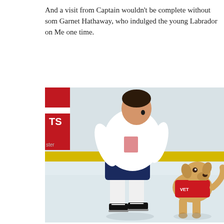And a visit from Captain wouldn't be complete without som Garnet Hathaway, who indulged the young Labrador on Me one time.
[Figure (photo): A Washington Capitals hockey player in white jersey and ice skates bending down face-to-face with a young yellow Labrador puppy wearing a red vest on an ice rink.]